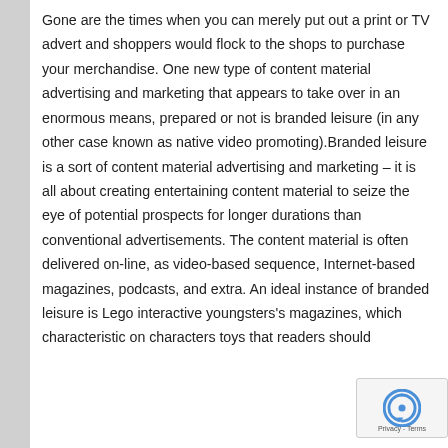Gone are the times when you can merely put out a print or TV advert and shoppers would flock to the shops to purchase your merchandise. One new type of content material advertising and marketing that appears to take over in an enormous means, prepared or not is branded leisure (in any other case known as native video promoting).Branded leisure is a sort of content material advertising and marketing – it is all about creating entertaining content material to seize the eye of potential prospects for longer durations than conventional advertisements. The content material is often delivered on-line, as video-based sequence, Internet-based magazines, podcasts, and extra. An ideal instance of branded leisure is Lego interactive youngsters's magazines, which characteristic on characters toys that readers should
[Figure (other): reCAPTCHA Privacy - Terms badge in bottom right corner]